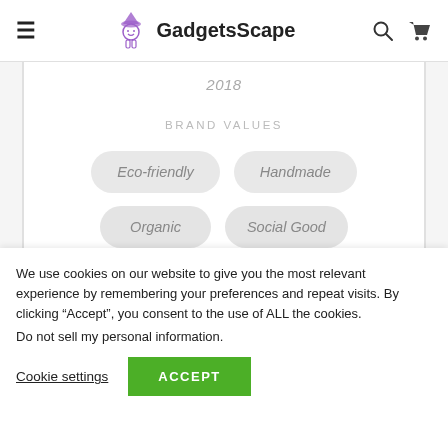GadgetsScape
2018
BRAND VALUES
Eco-friendly
Handmade
Organic
Social Good
We use cookies on our website to give you the most relevant experience by remembering your preferences and repeat visits. By clicking “Accept”, you consent to the use of ALL the cookies.
Do not sell my personal information.
Cookie settings  ACCEPT